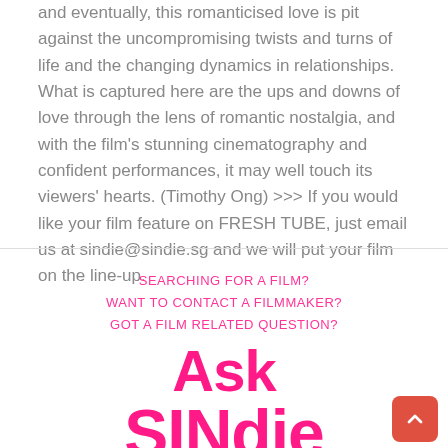and eventually, this romanticised love is pit against the uncompromising twists and turns of life and the changing dynamics in relationships. What is captured here are the ups and downs of love through the lens of romantic nostalgia, and with the film's stunning cinematography and confident performances, it may well touch its viewers' hearts. (Timothy Ong) >>> If you would like your film feature on FRESH TUBE, just email us at sindie@sindie.sg and we will put your film on the line-up.
[Figure (infographic): Promotional block with pink uppercase text: SEARCHING FOR A FILM? / WANT TO CONTACT A FILMMAKER? / GOT A FILM RELATED QUESTION? followed by large bold pink 'Ask SINdie' text. A red rounded square back-to-top button with an upward arrow is in the bottom right corner.]